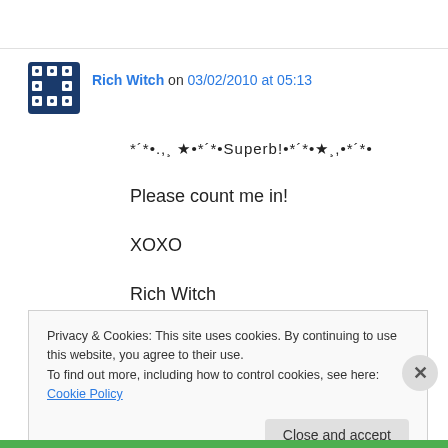Rich Witch on 03/02/2010 at 05:13
*´*•.,¸ ★•*´*•Superb!•*´*•★¸,•*´*•
Please count me in!
XOXO
Rich Witch
Please visit me for a chance to win a Most Magical Prize at:
Privacy & Cookies: This site uses cookies. By continuing to use this website, you agree to their use.
To find out more, including how to control cookies, see here: Cookie Policy
Close and accept